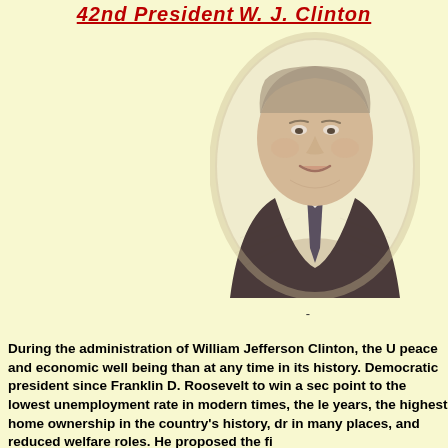42nd PresidentW. J. Clinton
[Figure (illustration): Black and white engraved-style portrait of William Jefferson Clinton, showing him from the chest up, wearing a suit and tie, smiling.]
-
During the administration of William Jefferson Clinton, the U peace and economic well being than at any time in its history. Democratic president since Franklin D. Roosevelt to win a sec point to the lowest unemployment rate in modern times, the le years, the highest home ownership in the country's history, dr in many places, and reduced welfare roles. He proposed the fi